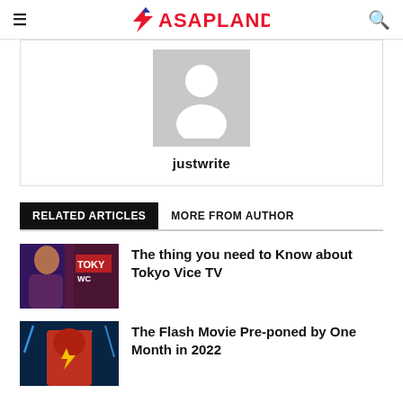ASAPLAND
[Figure (illustration): Default avatar placeholder — grey rectangle with white silhouette of a person]
justwrite
RELATED ARTICLES   MORE FROM AUTHOR
[Figure (photo): Thumbnail for Tokyo Vice TV article — woman in front of neon signs including TOKY text]
The thing you need to Know about Tokyo Vice TV
[Figure (photo): Thumbnail for The Flash Movie article — The Flash in lightning-charged scene]
The Flash Movie Pre-poned by One Month in 2022